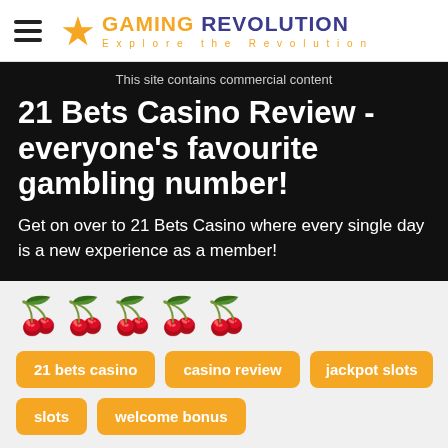Gaming Revolution - Explore the Revolution
This site contains commercial content
21 Bets Casino Review - everyone's favourite gambling number!
Get on over to 21 Bets Casino where every single day is a new experience as a member!
[Figure (other): 4.5 out of 5 cherry rating icons — 4 filled purple cherries and 1 empty/grey cherry]
21 bets casino  casino review  jackpot slots  slots  welcome bonus
Generous Welcome Bonus Offer
Top Range of Games
Fantastic Promotions